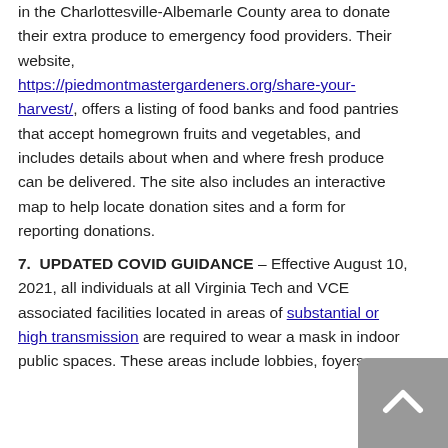in the Charlottesville-Albemarle County area to donate their extra produce to emergency food providers. Their website, https://piedmontmastergardeners.org/share-your-harvest/, offers a listing of food banks and food pantries that accept homegrown fruits and vegetables, and includes details about when and where fresh produce can be delivered. The site also includes an interactive map to help locate donation sites and a form for reporting donations.
7. UPDATED COVID GUIDANCE – Effective August 10, 2021, all individuals at all Virginia Tech and VCE associated facilities located in areas of substantial or high transmission are required to wear a mask in indoor public spaces. These areas include lobbies, foyers